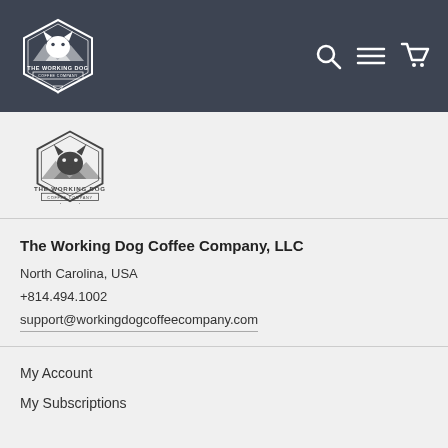[Figure (logo): The Working Dog Coffee Company logo in white on dark navy header bar]
[Figure (logo): The Working Dog Coffee Company logo in dark on light background in footer area]
The Working Dog Coffee Company, LLC
North Carolina, USA
+814.494.1002
support@workingdogcoffeecompany.com
My Account
My Subscriptions